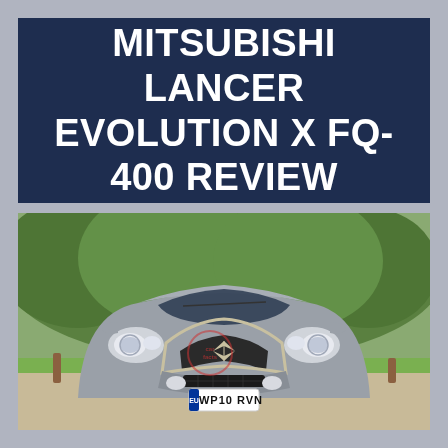MITSUBISHI LANCER EVOLUTION X FQ-400 REVIEW
[Figure (photo): Front-facing view of a grey Mitsubishi Lancer Evolution X with UK licence plate WP10 RVN, parked on a gravel surface with green trees in the background. A watermark logo is visible on the car's bonnet.]